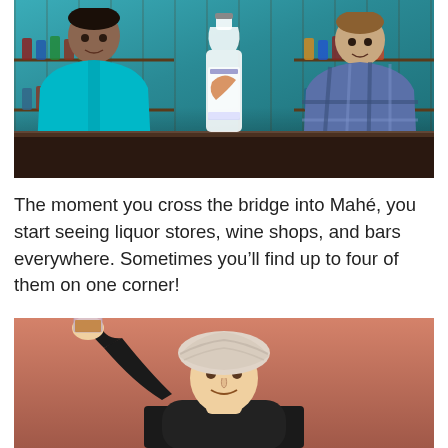[Figure (photo): Two men standing behind a store counter with shelves of bottles in the background. A bottle of vodka sits on the counter between them. The man on the left wears a teal/turquoise shirt; the man on the right wears a plaid shirt.]
The moment you cross the bridge into Mahé, you start seeing liquor stores, wine shops, and bars everywhere. Sometimes you'll find up to four of them on one corner!
[Figure (photo): A man wearing a white turban raises a glass of whiskey/liquor overhead. He is wearing a dark long-sleeved top. The background is a warm salmon/terracotta color.]